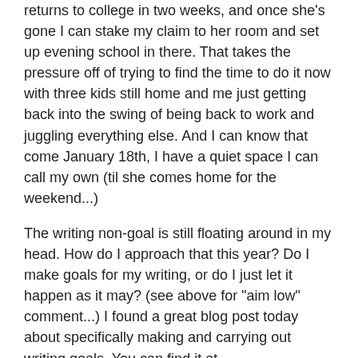returns to college in two weeks, and once she's gone I can stake my claim to her room and set up evening school in there.  That takes the pressure off of trying to find the time to do it now with three kids still home and me just getting back into the swing of being back to work and juggling everything else. And I can know that come January 18th, I have a quiet space I can call my own (til she comes home for the weekend...)
The writing non-goal is still floating around in my head.  How do I approach that this year?  Do I make goals for my writing, or do I just let it happen as it may?  (see above for "aim low" comment...)   I found a great blog post today about specifically making and carrying out writing goals.  You can find it at http://wannabepublished.blogspot.com/2009/12/writing-craft-set-meet-goals.html . I am thinking that rather than having no writing goals at all or going to the other extreme of naming my goal as "I'll write 3 picture book manuscripts this year",  I'll take the post's idea of a daily/weekly word count goal and approach it that way.  The manuscripts can be my secondary goal - what naturally